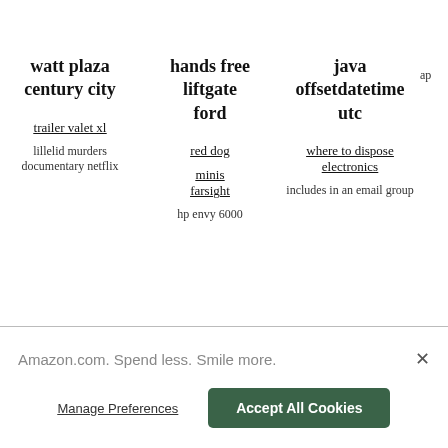watt plaza century city
trailer valet xl
lillelid murders documentary netflix
hands free liftgate ford
red dog
minis farsight
hp envy 6000
java offsetdatetime utc
where to dispose electronics
includes in an email group
ap
Amazon.com. Spend less. Smile more.
×
Manage Preferences
Accept All Cookies